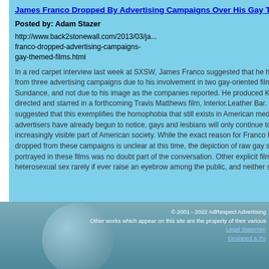James Franco Dropped By Advertising Campaigns Over His Gay Themed Films
Posted by: Adam Stazer
http://www.back2stonewall.com/2013/03/james-franco-dropped-advertising-campaigns-gay-themed-films.html
In a red carpet interview last week at SXSW, James Franco suggested that he has been dropped from three advertising campaigns due to his involvement in two gay-oriented films he put out at Sundance, and not due to his image as the companies reported. He produced Kink and co-directed and starred in a forthcoming Travis Matthews film, Interior.Leather Bar. Franco suggested that this exemplifies the homophobia that still exists in American media. As many advertisers have already begun to notice, gays and lesbians will only continue to become an increasingly visible part of American society. While the exact reason for Franco having been dropped from these campaigns is unclear at this time, the depiction of raw gay sexuality as portrayed in these films was no doubt part of the conversation. Other explicit films depicting heterosexual sex rarely if ever raise an eyebrow among the public, and neither should these.
Targe
Agen-
Displayin
© 2001 - 2022 AdRespect Advertising Other works which appear on this site are the property of their various Legal Statement Designed & Po